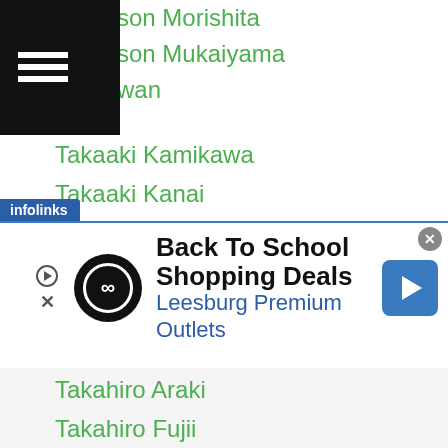Navigation menu header (hamburger icon, black background)
son Morishita
son Mukaiyama
wan
Takaaki Kamikawa
Takaaki Kanai
Takafumi Nakajima
Takafumi Shibata
Takahiko Kobayashi
Takahiro Ao
Takahiro Araki
Takahiro Fujii
Takahiro Murai
Takahiro Oda
Takahiro Shigee
Takahiro Tai
Takahiro Yamamoto
[Figure (screenshot): Advertisement banner: Back To School Shopping Deals - Leesburg Premium Outlets, with infolinks label and close button]